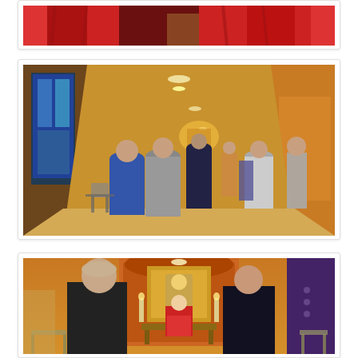[Figure (photo): Top portion of a photo showing red curtains/fabric and what appears to be a person in a religious or ceremonial setting]
[Figure (photo): People walking down a long church or chapel corridor toward an altar area with warm orange/golden walls, stained glass windows on the left, and recessed ceiling lights]
[Figure (photo): Religious ceremony scene with a priest in red vestments at an altar in an ornate orange niche, congregation members standing in foreground including a woman in black and another in purple]